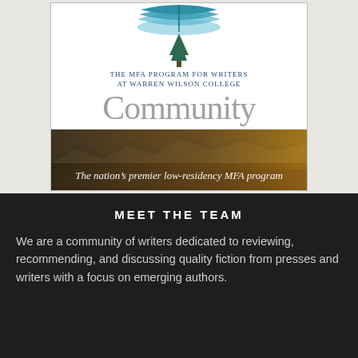[Figure (illustration): Book cover for 'Craft Community — The MFA Program for Writers at Warren Wilson College'. Top portion shows white background with teal/blue open book icon, a dark green pine tree, and text 'THE MFA PROGRAM FOR WRITERS AT WARREN WILSON COLLEGE' in small caps. Below is large gray serif text reading 'Community'. Bottom portion shows a landscape photo of mountains at golden hour with italic white text overlay: 'The nation's premier low-residency MFA program'.]
MEET THE TEAM
We are a community of writers dedicated to reviewing, recommending, and discussing quality fiction from presses and writers with a focus on emerging authors.